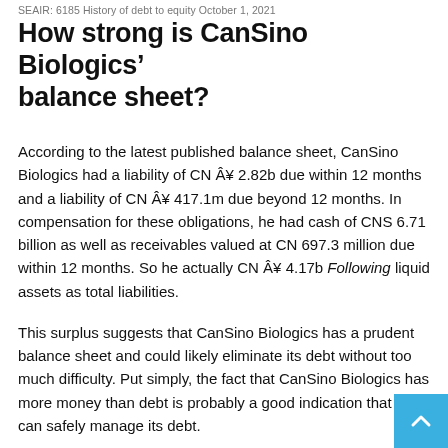SEAIR: 6185 History of debt to equity October 1, 2021
How strong is CanSino Biologics' balance sheet?
According to the latest published balance sheet, CanSino Biologics had a liability of CN Â¥ 2.82b due within 12 months and a liability of CN Â¥ 417.1m due beyond 12 months. In compensation for these obligations, he had cash of CNS 6.71 billion as well as receivables valued at CN 697.3 million due within 12 months. So he actually CN Â¥ 4.17b Following liquid assets as total liabilities.
This surplus suggests that CanSino Biologics has a prudent balance sheet and could likely eliminate its debt without too much difficulty. Put simply, the fact that CanSino Biologics has more money than debt is probably a good indication that it can safely manage its debt.
It was also good to see that despite losing money on the EBIT